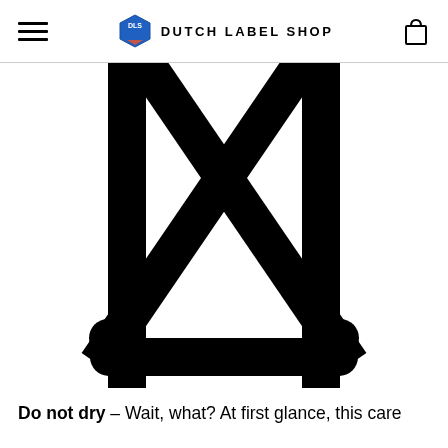DUTCH LABEL SHOP
[Figure (illustration): A large laundry care symbol for 'Do not tumble dry' — a square with an X through it and a circle inside, rendered in black on white background. The symbol is cropped at the top and shows the bottom portion prominently.]
Do not dry – Wait, what? At first glance, this care